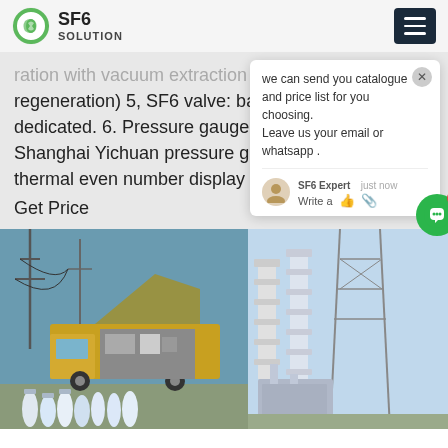SF6 SOLUTION
...ration with vacuum extraction and self-regeneration) 5, SF6 valve: ball valve DN15 SF6 dedicated. 6. Pressure gauge, vacuum gauge: Shanghai Yichuan pressure gauge, Shanghai thermal even number display vacuum...
Get Price
[Figure (screenshot): Chat popup showing message: we can send you catalogue and price list for you choosing. Leave us your email or whatsapp. SF6 Expert - just now. Write a message area with like and attachment icons.]
[Figure (photo): Composite photo showing an SF6 gas service truck (yellow, with equipment bay open) on the left side, and electrical substation transformers with insulators on the right side. Gas cylinders visible in foreground.]